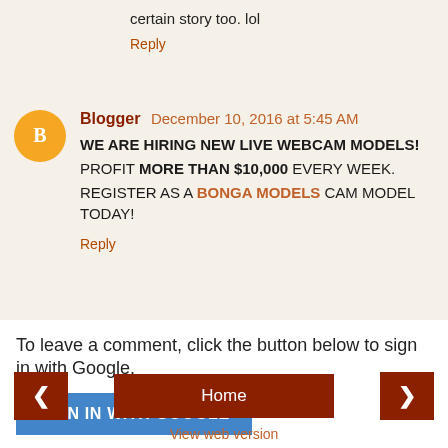certain story too. lol
Reply
Blogger  December 10, 2016 at 5:45 AM
WE ARE HIRING NEW LIVE WEBCAM MODELS! PROFIT MORE THAN $10,000 EVERY WEEK. REGISTER AS A BONGA MODELS CAM MODEL TODAY!
Reply
To leave a comment, click the button below to sign in with Google.
SIGN IN WITH GOOGLE
Home
View web version